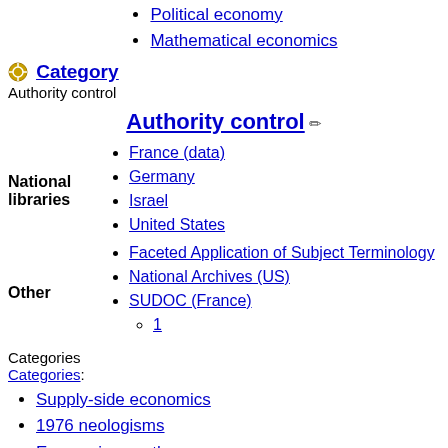Political economy
Mathematical economics
Category
Authority control
Authority control
National libraries
France (data)
Germany
Israel
United States
Other
Faceted Application of Subject Terminology
National Archives (US)
SUDOC (France)
1
Categories
Categories:
Supply-side economics
1976 neologisms
Economic growth
Schools of economic thought
Tax